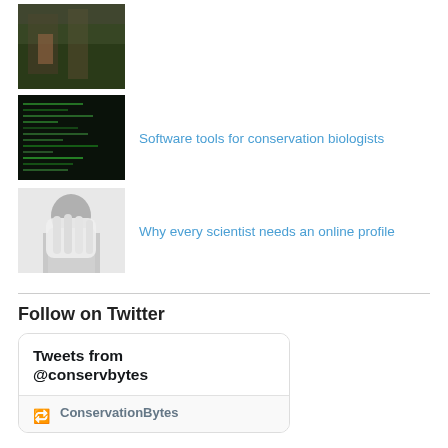[Figure (photo): Thumbnail photo of nature/outdoor scene with person]
[Figure (photo): Thumbnail photo of code/green text on dark screen]
Software tools for conservation biologists
[Figure (photo): Black and white thumbnail photo of person covering face with hand]
Why every scientist needs an online profile
Follow on Twitter
Tweets from @conservbytes
ConservationBytes